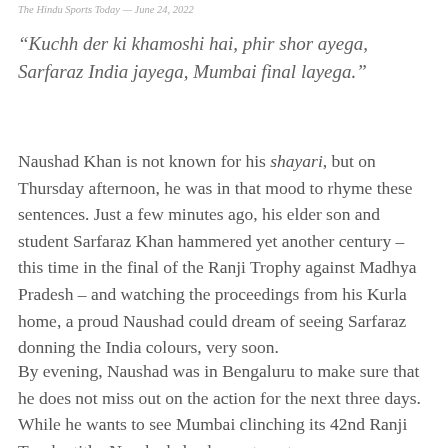The Hindu Sports Today — June 24, 2022
“Kuchh der ki khamoshi hai, phir shor ayega, Sarfaraz India jayega, Mumbai final layega.”
Naushad Khan is not known for his shayari, but on Thursday afternoon, he was in that mood to rhyme these sentences. Just a few minutes ago, his elder son and student Sarfaraz Khan hammered yet another century – this time in the final of the Ranji Trophy against Madhya Pradesh – and watching the proceedings from his Kurla home, a proud Naushad could dream of seeing Sarfaraz donning the India colours, very soon.
By evening, Naushad was in Bengaluru to make sure that he does not miss out on the action for the next three days. While he wants to see Mumbai clinching its 42nd Ranji Trophy title, Naushad also hopes to get a